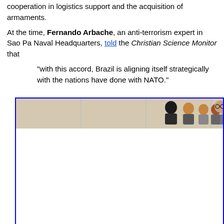cooperation in logistics support and the acquisition of armaments.
At the time, Fernando Arbache, an anti-terrorism expert in Sao Pa Naval Headquarters, told the Christian Science Monitor that
"with this accord, Brazil is aligning itself strategically with the nations have done with NATO."
[Figure (photo): A group photo showing several people standing in front of a light-colored wall/panels. Only the top portion of the image (heads and upper bodies) is visible, cropped by the page. The image is framed with a blue border.]